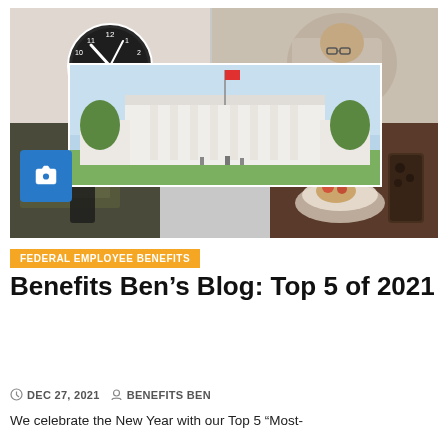[Figure (photo): Collage of images: clock face, person reading, White House exterior, money/dark background, food and drink, with camera icon overlay]
FEDERAL EMPLOYEE BENEFITS
Benefits Ben’s Blog: Top 5 of 2021
DEC 27, 2021   BENEFITS BEN
We celebrate the New Year with our Top 5 “Most-